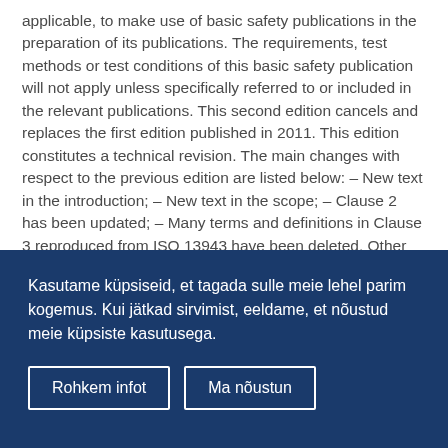applicable, to make use of basic safety publications in the preparation of its publications. The requirements, test methods or test conditions of this basic safety publication will not apply unless specifically referred to or included in the relevant publications. This second edition cancels and replaces the first edition published in 2011. This edition constitutes a technical revision. The main changes with respect to the previous edition are listed below: – New text in the introduction; – New text in the scope; – Clause 2 has been updated; – Many terms and definitions in Clause 3 reproduced from ISO 13943 have been deleted. Other terms and definitions have been added. – New text in Subclauses 4.3 and 4.4; – New text in Subclause 6.1; – References to IEC 60695-7-50 and -51 (now withdrawn) have been removed; – Reference to DEF STAN 07-247 has been added; – Details of ISO/TS 19021 have been added; – Details of EN 17084 have been added; – New text
Kasutame küpsiseid, et tagada sulle meie lehel parim kogemus. Kui jätkad sirvimist, eeldame, et nõustud meie küpsiste kasutusega.
Rohkem infot
Ma nõustun